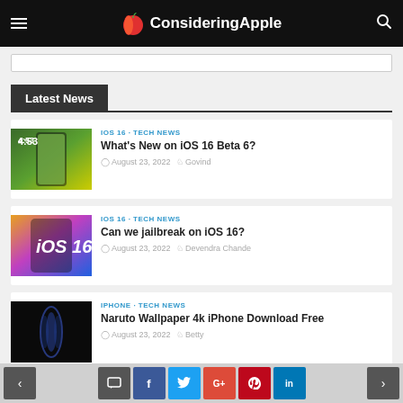ConsideringApple
Latest News
IOS 16 · TECH NEWS
What's New on iOS 16 Beta 6?
August 23, 2022  Govind
IOS 16 · TECH NEWS
Can we jailbreak on iOS 16?
August 23, 2022  Devendra Chande
IPHONE · TECH NEWS
Naruto Wallpaper 4k iPhone Download Free
August 23, 2022  Betty
< comment f t G+ p in >